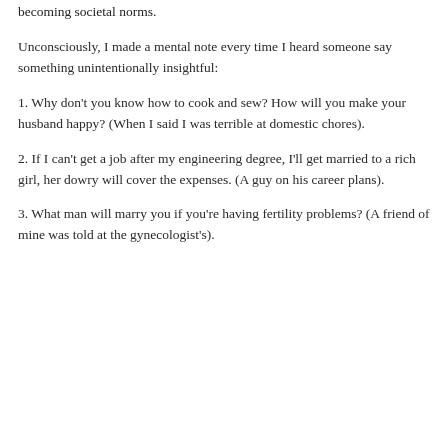becoming societal norms.
Unconsciously, I made a mental note every time I heard someone say something unintentionally insightful:
1. Why don't you know how to cook and sew? How will you make your husband happy? (When I said I was terrible at domestic chores).
2. If I can't get a job after my engineering degree, I'll get married to a rich girl, her dowry will cover the expenses. (A guy on his career plans).
3. What man will marry you if you're having fertility problems? (A friend of mine was told at the gynecologist's).